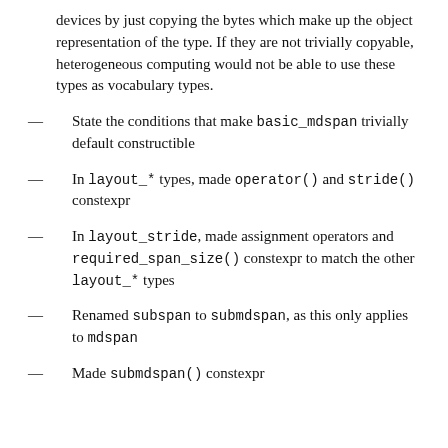devices by just copying the bytes which make up the object representation of the type. If they are not trivially copyable, heterogeneous computing would not be able to use these types as vocabulary types.
State the conditions that make basic_mdspan trivially default constructible
In layout_* types, made operator() and stride() constexpr
In layout_stride, made assignment operators and required_span_size() constexpr to match the other layout_* types
Renamed subspan to submdspan, as this only applies to mdspan
Made submdspan() constexpr